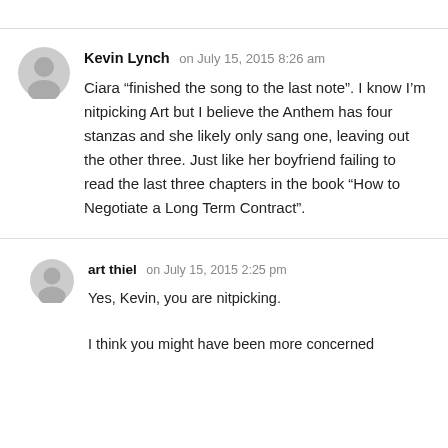Kevin Lynch on July 15, 2015 8:26 am
Ciara “finished the song to the last note”. I know I’m nitpicking Art but I believe the Anthem has four stanzas and she likely only sang one, leaving out the other three. Just like her boyfriend failing to read the last three chapters in the book “How to Negotiate a Long Term Contract”.
art thiel on July 15, 2015 2:25 pm
Yes, Kevin, you are nitpicking.
I think you might have been more concerned with the...